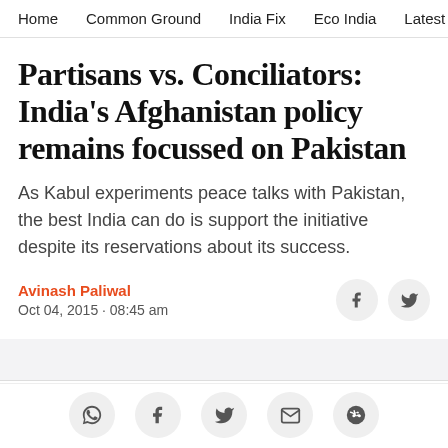Home  Common Ground  India Fix  Eco India  Latest  Th
Partisans vs. Conciliators: India's Afghanistan policy remains focussed on Pakistan
As Kabul experiments peace talks with Pakistan, the best India can do is support the initiative despite its reservations about its success.
Avinash Paliwal
Oct 04, 2015 · 08:45 am